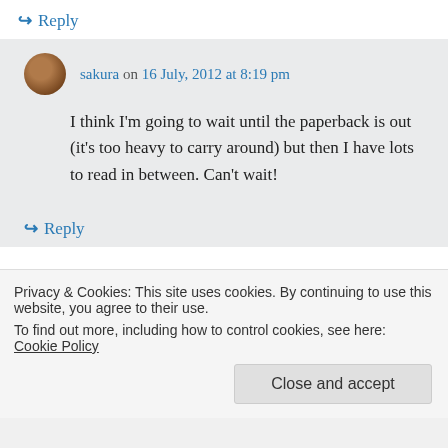↪ Reply
sakura on 16 July, 2012 at 8:19 pm
I think I'm going to wait until the paperback is out (it's too heavy to carry around) but then I have lots to read in between. Can't wait!
↪ Reply
Privacy & Cookies: This site uses cookies. By continuing to use this website, you agree to their use. To find out more, including how to control cookies, see here: Cookie Policy